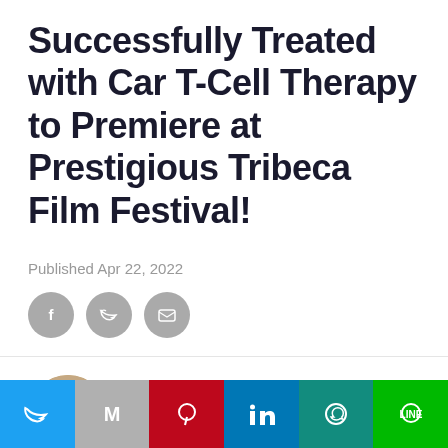Successfully Treated with Car T-Cell Therapy to Premiere at Prestigious Tribeca Film Festival!
Published Apr 22, 2022
[Figure (infographic): Three grey circular social sharing icons: Facebook (f), Twitter (bird), and Email (envelope)]
[Figure (photo): Circular author profile photo of Marisa Sullivan, a blonde woman]
Marisa Sullivan
[Figure (infographic): Grey circular scroll-to-top button with upward triangle arrow]
[Figure (infographic): Bottom social sharing bar with six colored buttons: Twitter (blue), Mail (grey), Pinterest (red), LinkedIn (blue), WhatsApp (teal), LINE (green)]